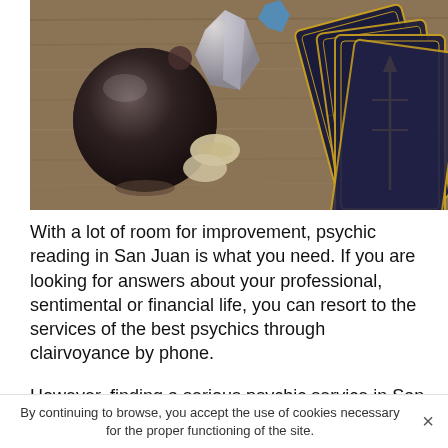[Figure (photo): Overhead view of a wooden table with a dark glass crystal ball, a clear quartz crystal, cowrie shells, blue turquoise crystals, and a fan of dark tarot cards with gold designs on the right side.]
With a lot of room for improvement, psychic reading in San Juan is what you need. If you are looking for answers about your professional, sentimental or financial life, you can resort to the services of the best psychics through clairvoyance by phone.
However, finding a serious psychic service in San Juan that truly has this gift could be a real headache because of the multiplication of psychic reading experts in Dallas
By continuing to browse, you accept the use of cookies necessary for the proper functioning of the site.